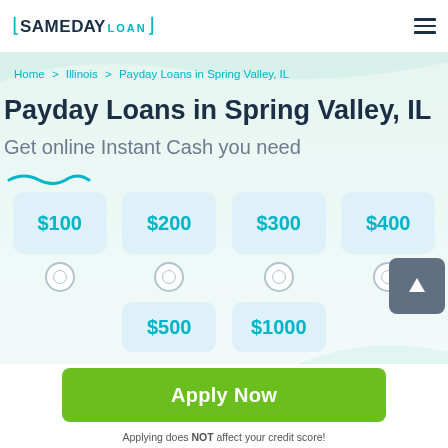SAMEDAY LOAN
Home > Illinois > Payday Loans in Spring Valley, IL
Payday Loans in Spring Valley, IL
Get online Instant Cash you need
[Figure (screenshot): Loan amount selector cards showing $100, $200, $300, $400 in row 1 and $500, $1000 partially visible in row 2, each with radio button below]
Apply Now
Applying does NOT affect your credit score! No credit check to apply.